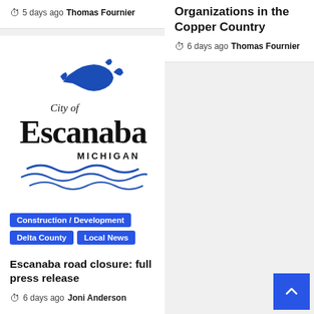5 days ago Thomas Fournier
Organizations in the Copper Country
6 days ago Thomas Fournier
[Figure (logo): City of Escanaba Michigan logo with Upper Peninsula silhouette in blue above the text and wave lines below]
Construction / Development Delta County Local News
Escanaba road closure: full press release
6 days ago Joni Anderson